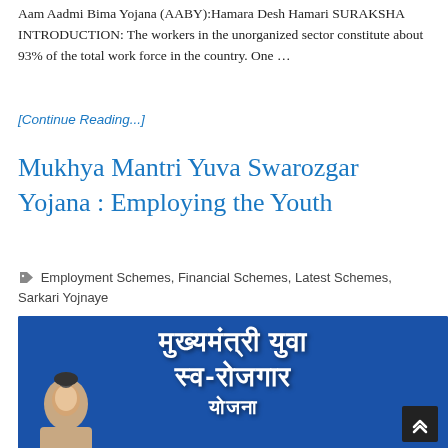Aam Aadmi Bima Yojana (AABY):Hamara Desh Hamari SURAKSHA   INTRODUCTION: The workers in the unorganized sector constitute about 93% of the total work force in the country. One …
[Continue Reading...]
Mukhya Mantri Yuva Swarozgar Yojana : Employing the Youth
Employment Schemes, Financial Schemes, Latest Schemes, Sarkari Yojnaye
[Figure (photo): Blue banner image with Hindi text reading 'मुख्यमंत्री युवा स्व-रोजगार योजना' with a photo of a political figure on the left side]